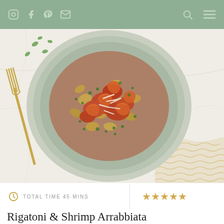Navigation bar with social icons (Instagram, Facebook, Pinterest, Email) and search/menu icons
[Figure (photo): Overhead shot of pasta shells and shrimp arrabbiata in a sage green ceramic plate, garnished with grated parmesan and chopped parsley, on a white marble surface with a gold fork on the left and woven gold placemat on the right.]
TOTAL TIME 45 MINS
★★★★★
Rigatoni & Shrimp Arrabbiata